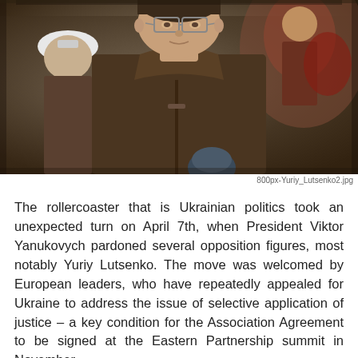[Figure (photo): Photograph of Yuriy Lutsenko, a man with glasses wearing a brown zip-up sweater, speaking into a microphone at an outdoor event with a crowd in the background.]
800px-Yuriy_Lutsenko2.jpg
The rollercoaster that is Ukrainian politics took an unexpected turn on April 7th, when President Viktor Yanukovych pardoned several opposition figures, most notably Yuriy Lutsenko. The move was welcomed by European leaders, who have repeatedly appealed for Ukraine to address the issue of selective application of justice – a key condition for the Association Agreement to be signed at the Eastern Partnership summit in November.